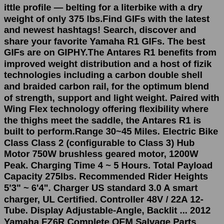ittle profile — belting for a literbike with a dry weight of only 375 lbs.Find GIFs with the latest and newest hashtags! Search, discover and share your favorite Yamaha R1 GIFs. The best GIFs are on GIPHY.The Antares R1 benefits from improved weight distribution and a host of fizik technologies including a carbon double shell and braided carbon rail, for the optimum blend of strength, support and light weight. Paired with Wing Flex technology offering flexibility where the thighs meet the saddle, the Antares R1 is built to perform.Range 30~45 Miles. Electric Bike Class Class 2 (configurable to Class 3) Hub Motor 750W brushless geared motor, 1200W Peak. Charging Time 4 ~ 5 Hours. Total Payload Capacity 275lbs. Recommended Rider Heights 5'3" ~ 6'4". Charger US standard 3.0 A smart charger, UL Certified. Controller 48V / 22A 12-Tube. Display Adjustable-Angle, Backlit ... 2012 Yamaha FZ6R Complete OEM Salvage Parts Motorcycle: 2009 09 Yamaha R1 YZF-R1 YZFR1 Wire Harness Assembly 14B-82590-10-00: 2015 Yamaha TTR50 OEM Salvage